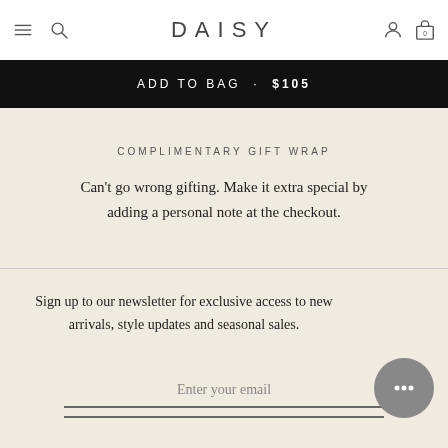DAISY
ADD TO BAG · $105
COMPLIMENTARY GIFT WRAP
Can't go wrong gifting. Make it extra special by adding a personal note at the checkout.
Sign up to our newsletter for exclusive access to new arrivals, style updates and seasonal sales.
Enter your email